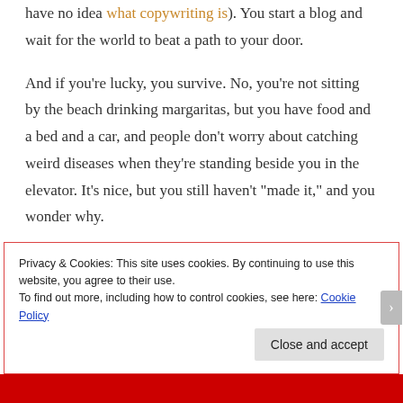have no idea what copywriting is). You start a blog and wait for the world to beat a path to your door.
And if you're lucky, you survive. No, you're not sitting by the beach drinking margaritas, but you have food and a bed and a car, and people don't worry about catching weird diseases when they're standing beside you in the elevator. It's nice, but you still haven't "made it," and you wonder why.
Privacy & Cookies: This site uses cookies. By continuing to use this website, you agree to their use.
To find out more, including how to control cookies, see here: Cookie Policy